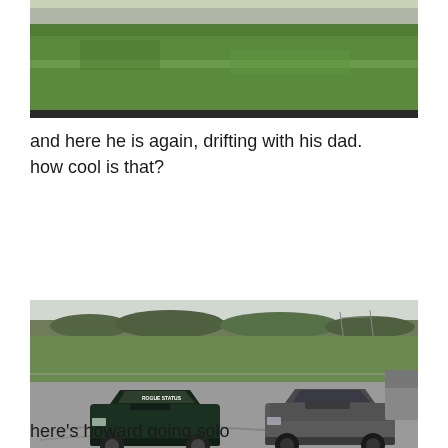[Figure (photo): Partial photo of cars on a race track with green grass in background, cropped at top]
and here he is again, drifting with his dad. how cool is that?
[Figure (photo): Two modified sports cars (a dark green Nissan S13 with ROGUE STATUS windshield banner and a grey Nissan S13) drifting side by side on a race track with green grassy infield and wooded hills in the background]
here's howard going solo